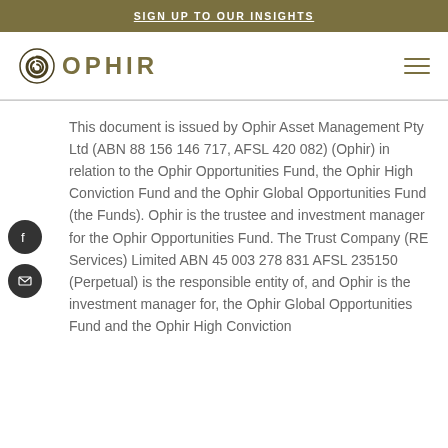SIGN UP TO OUR INSIGHTS
[Figure (logo): Ophir Asset Management logo with spiral icon and OPHIR text in gold/olive color]
This document is issued by Ophir Asset Management Pty Ltd (ABN 88 156 146 717, AFSL 420 082) (Ophir) in relation to the Ophir Opportunities Fund, the Ophir High Conviction Fund and the Ophir Global Opportunities Fund (the Funds). Ophir is the trustee and investment manager for the Ophir Opportunities Fund. The Trust Company (RE Services) Limited ABN 45 003 278 831 AFSL 235150 (Perpetual) is the responsible entity of, and Ophir is the investment manager for, the Ophir Global Opportunities Fund and the Ophir High Conviction